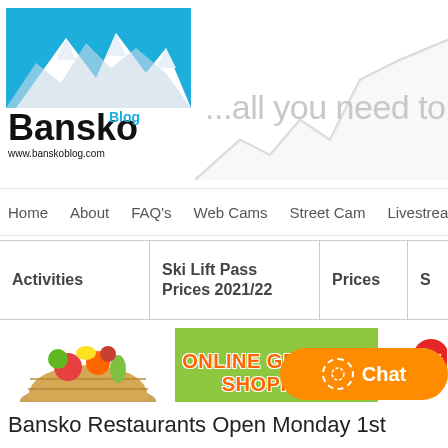[Figure (logo): Bansko Blog logo with mountains and blue sky, text 'Bansko Blog www.banskoblog.com']
...all you need to kn
Home  About  FAQ's  Web Cams  Street Cam  Livestream C
| Activities | Ski Lift Pass Prices 2021/22 | Prices | S |
| --- | --- | --- | --- |
[Figure (screenshot): Online Grocery Shopping banner with eco market logo and vegetables basket]
Chat
Bansko Restaurants Open Monday 1st